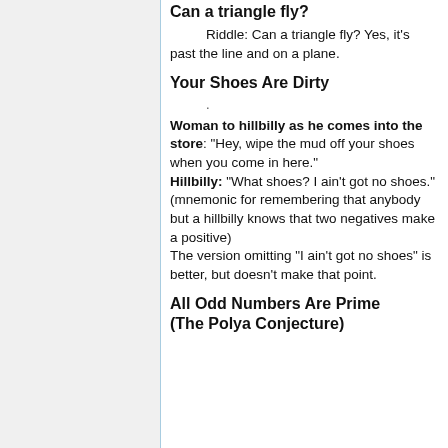Can a triangle fly?
Riddle: Can a triangle fly? Yes, it's past the line and on a plane.
Your Shoes Are Dirty
Woman to hillbilly as he comes into the store: "Hey, wipe the mud off your shoes when you come in here." Hillbilly: "What shoes? I ain't got no shoes." (mnemonic for remembering that anybody but a hillbilly knows that two negatives make a positive) The version omitting "I ain't got no shoes" is better, but doesn't make that point.
All Odd Numbers Are Prime (The Polya Conjecture)